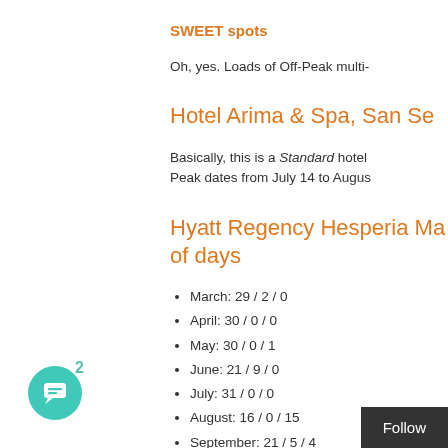SWEET spots
Oh, yes. Loads of Off-Peak multi-
Hotel Arima & Spa, San Se
Basically, this is a Standard hotel Peak dates from July 14 to Augus
Hyatt Regency Hesperia Ma of days
March: 29 / 2 / 0
April: 30 / 0 / 0
May: 30 / 0 / 1
June: 21 / 9 / 0
July: 31 / 0 / 0
August: 16 / 0 / 15
September: 21 / 5 / 4
October: 10 / 21 / 0
November: